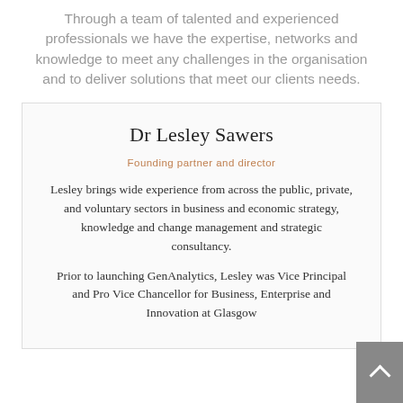Through a team of talented and experienced professionals we have the expertise, networks and knowledge to meet any challenges in the organisation and to deliver solutions that meet our clients needs.
Dr Lesley Sawers
Founding partner and director
Lesley brings wide experience from across the public, private, and voluntary sectors in business and economic strategy, knowledge and change management and strategic consultancy.
Prior to launching GenAnalytics, Lesley was Vice Principal and Pro Vice Chancellor for Business, Enterprise and Innovation at Glasgow